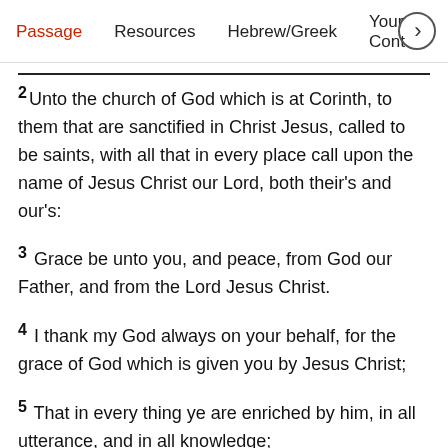Passage   Resources   Hebrew/Greek   Your Cont >
2 Unto the church of God which is at Corinth, to them that are sanctified in Christ Jesus, called to be saints, with all that in every place call upon the name of Jesus Christ our Lord, both their's and our's:
3 Grace be unto you, and peace, from God our Father, and from the Lord Jesus Christ.
4 I thank my God always on your behalf, for the grace of God which is given you by Jesus Christ;
5 That in every thing ye are enriched by him, in all utterance, and in all knowledge;
6 Even as the testimony of Christ was confirmed in you: